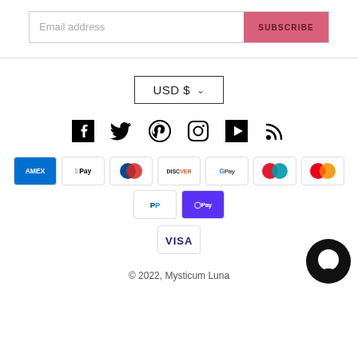[Figure (screenshot): Email subscription input field with Subscribe button on the right]
[Figure (screenshot): USD $ currency selector dropdown button]
[Figure (infographic): Social media icons: Facebook, Twitter, Pinterest, Instagram, YouTube, RSS feed]
[Figure (infographic): Payment method icons: Amex, Apple Pay, Diners Club, Discover, Google Pay, Maestro, Mastercard, PayPal, Shop Pay, Visa]
© 2022, Mysticum Luna